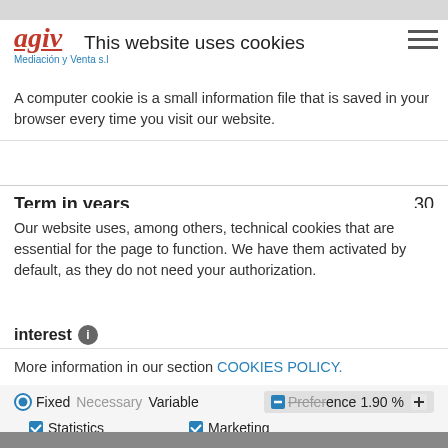agiv Mediación y Venta s.l
This website uses cookies
A computer cookie is a small information file that is saved in your browser every time you visit our website.
Term in years
30
Our website uses, among others, technical cookies that are essential for the page to function. We have them activated by default, as they do not need your authorization.
interest
More information in our section COOKIES POLICY.
Fixed
Necessary
Variable
Preference
1,90 %
Statistics
Marketing
Your monthly fee
Accept selection
501,38 €
These results are indicative, calculated with the numbers you have entered.
Map
Setting